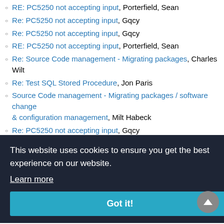RE: PC5250 not accepting input, Porterfield, Sean
Re: PC5250 not accepting input, Gqcy
Re: PC5250 not accepting input, Gqcy
RE: PC5250 not accepting input, Porterfield, Sean
Re: Source Code management - Migrating packages, Charles Wilt
Re: Test SQL Stored Procedure, Jon Paris
Source Code management - Migrating packages / software change & configuration management, Milt Habeck
Re: PC5250 not accepting input, Gqcy
RE: Test SQL Stored Procedure, Elvis Budimlic
Re: Source Code management - Migrating packages, Alan Shore
RE: PC5250 not accepting input, John Taylor
This website uses cookies to ensure you get the best experience on our website.
Learn more
Got it!
Required parameters vs. positional parameters, was Re: An